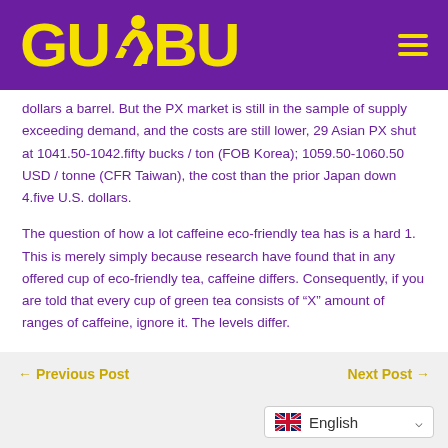GUBU (logo with runner icon) — navigation header
dollars a barrel. But the PX market is still in the sample of supply exceeding demand, and the costs are still lower, 29 Asian PX shut at 1041.50-1042.fifty bucks / ton (FOB Korea); 1059.50-1060.50 USD / tonne (CFR Taiwan), the cost than the prior Japan down 4.five U.S. dollars.
The question of how a lot caffeine eco-friendly tea has is a hard 1. This is merely simply because research have found that in any offered cup of eco-friendly tea, caffeine differs. Consequently, if you are told that every cup of green tea consists of “X” amount of ranges of caffeine, ignore it. The levels differ.
← Previous Post    Next Post →
English (language selector with UK flag)